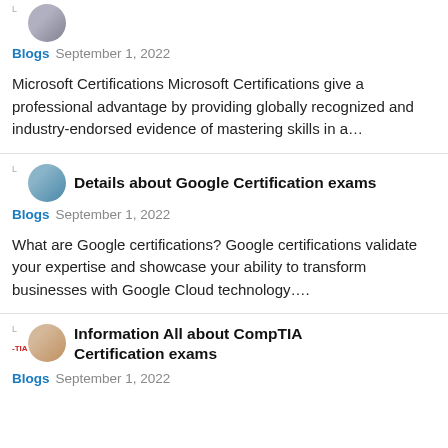[Figure (photo): Small circular thumbnail of a person at top of page]
Blogs  September 1, 2022
Microsoft Certifications Microsoft Certifications give a professional advantage by providing globally recognized and industry-endorsed evidence of mastering skills in a…
Details about Google Certification exams
Blogs  September 1, 2022
What are Google certifications? Google certifications validate your expertise and showcase your ability to transform businesses with Google Cloud technology….
Information All about CompTIA Certification exams
Blogs  September 1, 2022